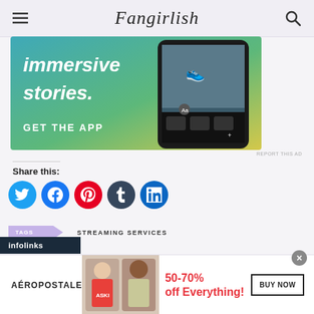Fangirlish
[Figure (screenshot): App advertisement showing 'immersive stories. GET THE APP' with a phone displaying outdoor content, blue-to-yellow gradient background]
REPORT THIS AD
Share this:
[Figure (infographic): Social share buttons: Twitter (blue), Facebook (blue), Pinterest (red), Tumblr (dark blue), LinkedIn (blue)]
TAGS   STREAMING SERVICES
[Figure (infographic): Aéropostale advertisement: 50-70% off Everything! BUY NOW button, two female models]